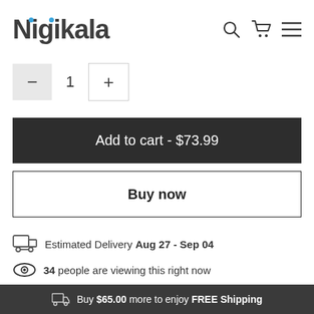Nigikala
1
Add to cart - $73.99
Buy now
Estimated Delivery Aug 27 - Sep 04
34 people are viewing this right now
Buy $65.00 more to enjoy FREE Shipping